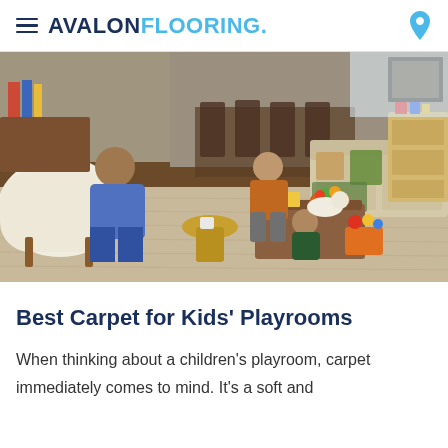AVALON FLOORING
[Figure (photo): A family with children relaxing on carpet in a living room with mid-century modern furniture, carpet flooring visible in foreground]
Best Carpet for Kids’ Playrooms
When thinking about a children’s playroom, carpet immediately comes to mind. It’s a soft and